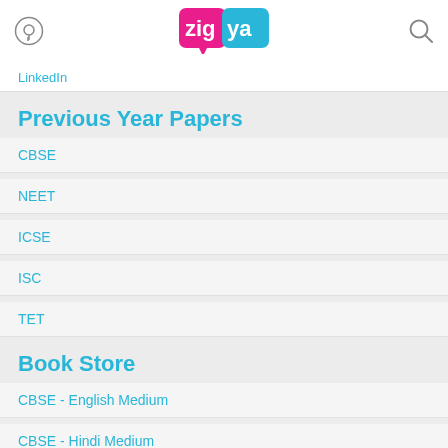zigya
LinkedIn
Previous Year Papers
CBSE
NEET
ICSE
ISC
TET
Book Store
CBSE - English Medium
CBSE - Hindi Medium
ICSE